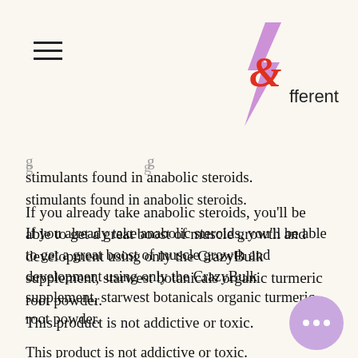fferent
stimulants found in anabolic steroids.
If you already take anabolic steroids, you'll be able to get a great boost of muscle growth and development using only the CrazyBulk supplement, starwest botanicals organic turmeric root powder.
This product is not addictive or toxic.
The maximum daily dose of CrazyBulk is 4 grams which means you can take this supplement twice a day.
After taking the supplement as recommended for four weeks, you may lost some of your previous muscle, and you